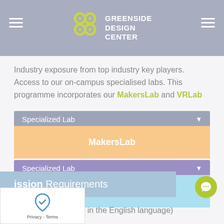Greenside Design Center
Industry exposure from top industry key players. Access to our on-campus specialised labs. This programme incorporates our MakersLab and VRLab
Specialized Lab
MakersLab
Specialized Lab
VRLab
Admission Requirements
NQF4 (Competency in the English language)